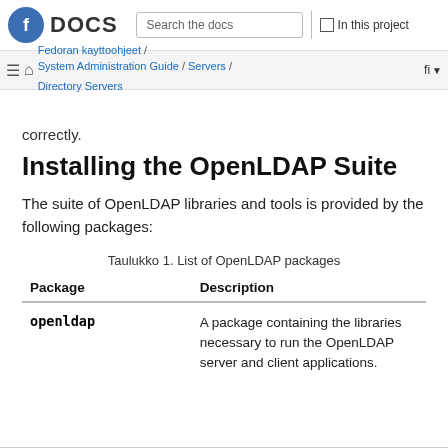Fedoran kayttoohjeet / System Administration Guide / Servers / Directory Servers
correctly.
Installing the OpenLDAP Suite
The suite of OpenLDAP libraries and tools is provided by the following packages:
Taulukko 1. List of OpenLDAP packages
| Package | Description |
| --- | --- |
| openldap | A package containing the libraries necessary to run the OpenLDAP server and client applications. |